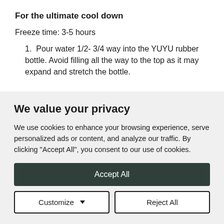For the ultimate cool down
Freeze time: 3-5 hours
1. Pour water 1/2- 3/4 way into the YUYU rubber bottle. Avoid filling all the way to the top as it may expand and stretch the bottle.
We value your privacy
We use cookies to enhance your browsing experience, serve personalized ads or content, and analyze our traffic. By clicking "Accept All", you consent to our use of cookies.
Accept All
Customize
Reject All